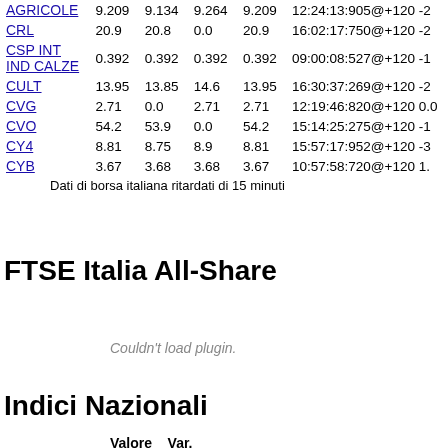| Nome | Ult. | Ap. | Min. | Max. | Ora | Var.% |
| --- | --- | --- | --- | --- | --- | --- |
| AGRICOLE | 9.209 | 9.134 | 9.264 | 9.209 | 12:24:13:905@+120 | -2 |
| CRL | 20.9 | 20.8 | 0.0 | 20.9 | 16:02:17:750@+120 | -2 |
| CSP INT IND CALZE | 0.392 | 0.392 | 0.392 | 0.392 | 09:00:08:527@+120 | -1 |
| CULT | 13.95 | 13.85 | 14.6 | 13.95 | 16:30:37:269@+120 | -2 |
| CVG | 2.71 | 0.0 | 2.71 | 2.71 | 12:19:46:820@+120 | 0.0 |
| CVO | 54.2 | 53.9 | 0.0 | 54.2 | 15:14:25:275@+120 | -1 |
| CY4 | 8.81 | 8.75 | 8.9 | 8.81 | 15:57:17:952@+120 | -3 |
| CYB | 3.67 | 3.68 | 3.68 | 3.67 | 10:57:58:720@+120 | 1. |
Dati di borsa italiana ritardati di 15 minuti
FTSE Italia All-Share
Couldn't load plugin.
Indici Nazionali
Valore    Var.